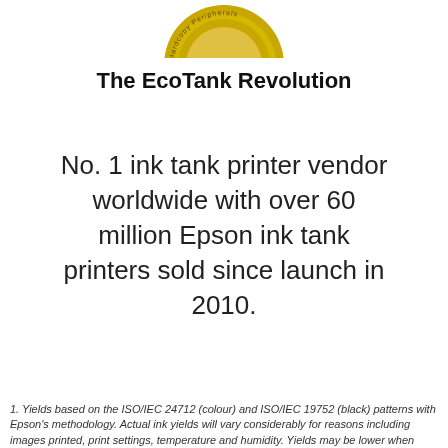[Figure (illustration): Partial gold medal/award badge visible at top center, cut off at top edge, with text around the rim reading 'Hardcopy Peripherals']
The EcoTank Revolution
No. 1 ink tank printer vendor worldwide with over 60 million Epson ink tank printers sold since launch in 2010.
1. Yields based on the ISO/IEC 24712 (colour) and ISO/IEC 19752 (black) patterns with Epson's methodology. Actual ink yields will vary considerably for reasons including images printed, print settings, temperature and humidity. Yields may be lower when